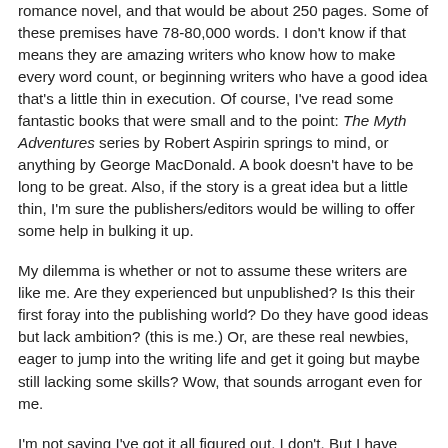romance novel, and that would be about 250 pages. Some of these premises have 78-80,000 words. I don't know if that means they are amazing writers who know how to make every word count, or beginning writers who have a good idea that's a little thin in execution. Of course, I've read some fantastic books that were small and to the point: The Myth Adventures series by Robert Aspirin springs to mind, or anything by George MacDonald. A book doesn't have to be long to be great. Also, if the story is a great idea but a little thin, I'm sure the publishers/editors would be willing to offer some help in bulking it up.
My dilemma is whether or not to assume these writers are like me. Are they experienced but unpublished? Is this their first foray into the publishing world? Do they have good ideas but lack ambition? (this is me.) Or, are these real newbies, eager to jump into the writing life and get it going but maybe still lacking some skills? Wow, that sounds arrogant even for me.
I'm not saying I've got it all figured out. I don't. But I have read manuscripts that are more eager than coherent. A good